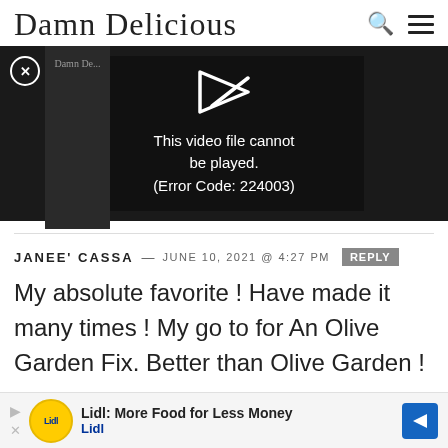Damn Delicious
[Figure (screenshot): Video player showing error: This video file cannot be played. (Error Code: 224003)]
JANEE' CASSA — JUNE 10, 2021 @ 4:27 PM  REPLY
My absolute favorite ! Have made it many times ! My go to for An Olive Garden Fix. Better than Olive Garden !
[Figure (screenshot): Advertisement banner: Lidl: More Food for Less Money - Lidl]